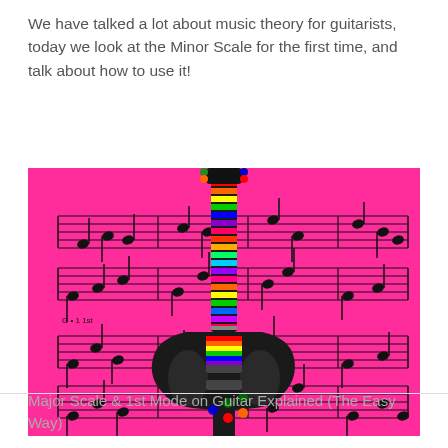We have talked a lot about music theory for guitarists, today we look at the Minor Scale for the first time, and talk about how to use it!
[Figure (illustration): A colorful illustration on a bright pink/magenta background showing an electric guitar (SG-style) with a rainbow-colored fretboard in the center, overlaid on sheet music notation with multiple staves and musical notes visible throughout.]
Major Scale & 1st Mode on Guitar Explained (The Easy Way)